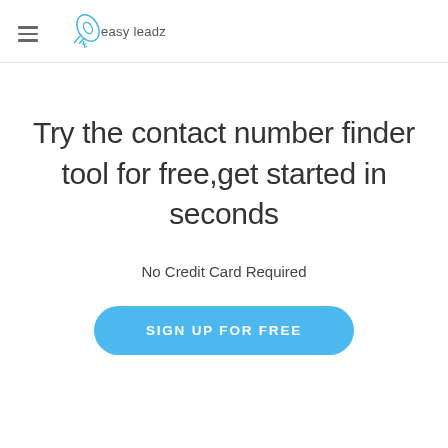easy leadz
Try the contact number finder tool for free,get started in seconds
No Credit Card Required
SIGN UP FOR FREE